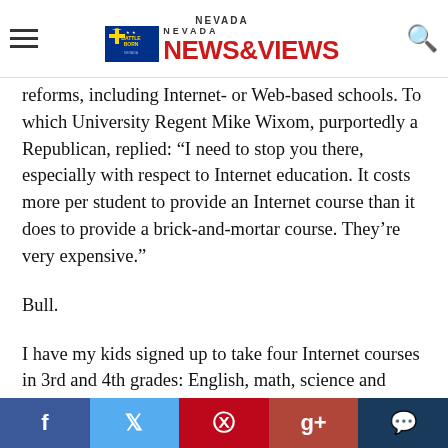Nevada News & Views
reforms, including Internet- or Web-based schools. To which University Regent Mike Wixom, purportedly a Republican, replied: “I need to stop you there, especially with respect to Internet education. It costs more per student to provide an Internet course than it does to provide a brick-and-mortar course. They’re very expensive.”
Bull.
I have my kids signed up to take four Internet courses in 3rd and 4th grades: English, math, science and history. Total cost per course per month per student: $5. That comes to a total of $20 per month per student, or $180 per student per grade year. Meanwhile, the brick-and-
Facebook Twitter Pinterest Google+ Chat